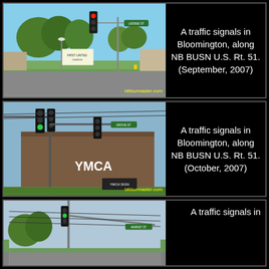[Figure (photo): A traffic signal at an intersection in Bloomington along NB BUSN U.S. Rt. 51, with trees and street signs visible. Watermark: billburmaster.com. September 2007.]
A traffic signals in Bloomington, along NB BUSN U.S. Rt. 51. (September, 2007)
[Figure (photo): A traffic signal mounted on a mast arm in front of the YMCA building in Bloomington along NB BUSN U.S. Rt. 51. Watermark: billburmaster.com. October 2007.]
A traffic signals in Bloomington, along NB BUSN U.S. Rt. 51. (October, 2007)
[Figure (photo): A traffic signal at another intersection in Bloomington along NB BUSN U.S. Rt. 51, partially shown.]
A traffic signals in